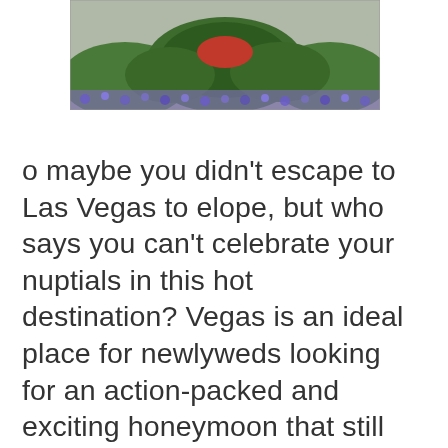[Figure (photo): Aerial or ground-level photo of a decorative garden with green hedges, red floral patterns, and purple/blue flowers along the edges.]
o maybe you didn't escape to Las Vegas to elope, but who says you can't celebrate your nuptials in this hot destination? Vegas is an ideal place for newlyweds looking for an action-packed and exciting honeymoon that still allows or the option of being pampered, all for a reasonable price. The Bellagio Hotel offers fine accommodations and a fun nightlife, plus gourmet dining, stunning gardens, an elaborate pool complex, a first-class spa and even fine art on display. Las Vegas' romantic side is undeniable, and the whirlwind of available activities is sure to provide an unforgettable